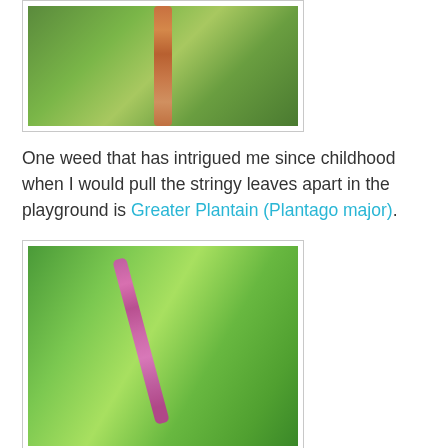[Figure (photo): Close-up photo of a Greater Plantain (Plantago major) plant showing the flower spike with small buds/nutlets and broad green leaves in the background, top portion of plant visible.]
One weed that has intrigued me since childhood when I would pull the stringy leaves apart in the playground is Greater Plantain (Plantago major).
[Figure (photo): Photo of a Greater Plantain (Plantago major) plant showing a tall pinkish-red flower spike surrounded by large, broad bright green leaves.]
With the plantain growing so tall and big, I decided to harvest some with the goal of having some edible nutlets to eat in pancakes or to cook up within a stew or simply roast up as